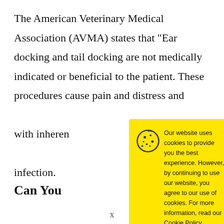The American Veterinary Medical Association (AVMA) states that “Ear docking and tail docking are not medically indicated or beneficial to the patient. These procedures cause pain and distress and with inherent infection.
[Figure (screenshot): Cookie consent popup with yellow background, cookie icon, text about website cookie usage, a link to Cookie Policy, and a black Accept button. A close button (X) in black circle is in the top right corner.]
Can You
x